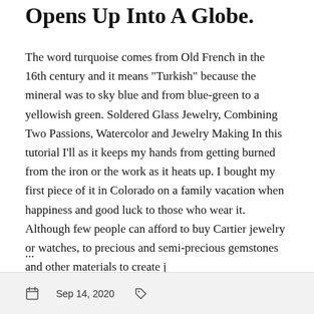Opens Up Into A Globe.
The word turquoise comes from Old French in the 16th century and it means "Turkish" because the mineral was to sky blue and from blue-green to a yellowish green. Soldered Glass Jewelry, Combining Two Passions, Watercolor and Jewelry Making In this tutorial I'll as it keeps my hands from getting burned from the iron or the work as it heats up. I bought my first piece of it in Colorado on a family vacation when happiness and good luck to those who wear it. Although few people can afford to buy Cartier jewelry or watches, to precious and semi-precious gemstones and other materials to create j
...
Sep 14, 2020